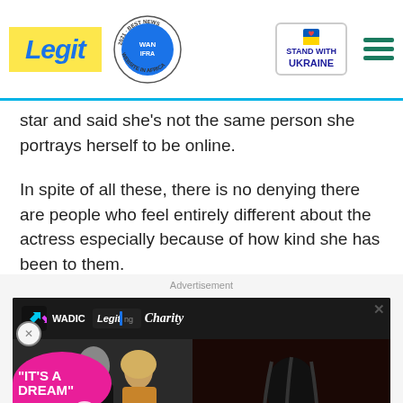Legit | WAN IFRA 2021 Best News Website in Africa | Stand With Ukraine
star and said she's not the same person she portrays herself to be online.
In spite of all these, there is no denying there are people who feel entirely different about the actress especially because of how kind she has been to them.
[Figure (screenshot): Advertisement banner for Legit Charity / WADIC featuring a movie couple photo and a charity appeal for 'Your Support Matters! Save the life of girl at risk' with a Donate now button.]